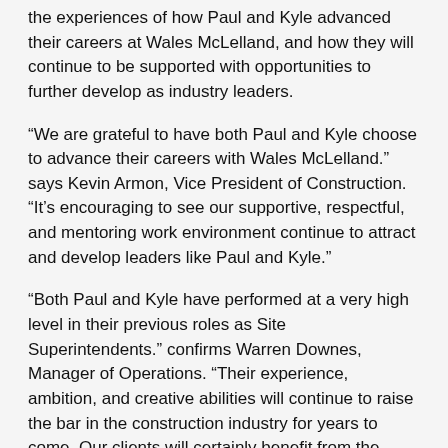the experiences of how Paul and Kyle advanced their careers at Wales McLelland, and how they will continue to be supported with opportunities to further develop as industry leaders.
“We are grateful to have both Paul and Kyle choose to advance their careers with Wales McLelland.” says Kevin Armon, Vice President of Construction. “It’s encouraging to see our supportive, respectful, and mentoring work environment continue to attract and develop leaders like Paul and Kyle.”
“Both Paul and Kyle have performed at a very high level in their previous roles as Site Superintendents.” confirms Warren Downes, Manager of Operations. “Their experience, ambition, and creative abilities will continue to raise the bar in the construction industry for years to come. Our clients will certainly benefit from the promotions of these two dedicated individuals.”